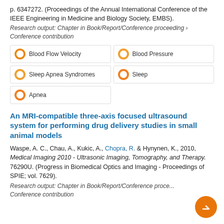p. 6347272. (Proceedings of the Annual International Conference of the IEEE Engineering in Medicine and Biology Society, EMBS).
Research output: Chapter in Book/Report/Conference proceeding › Conference contribution
Blood Flow Velocity
Blood Pressure
Sleep Apnea Syndromes
Sleep
Apnea
An MRI-compatible three-axis focused ultrasound system for performing drug delivery studies in small animal models
Waspe, A. C., Chau, A., Kukic, A., Chopra, R. & Hynynen, K., 2010, Medical Imaging 2010 - Ultrasonic Imaging, Tomography, and Therapy. 76290U. (Progress in Biomedical Optics and Imaging - Proceedings of SPIE; vol. 7629).
Research output: Chapter in Book/Report/Conference proceeding › Conference contribution